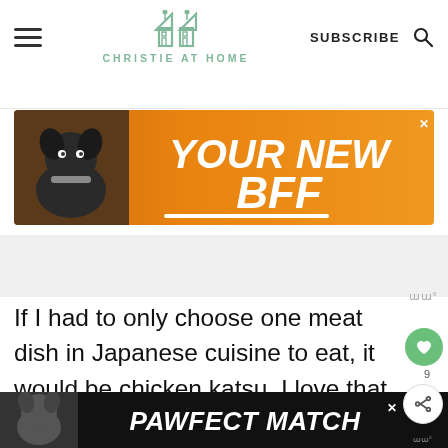CHRISTIE AT HOME
[Figure (screenshot): Orange advertisement banner with a black dog and text YOUR NEW BFF]
If I had to only choose one meat dish in Japanese cuisine to eat, it would be chicken katsu. I love that crispy coating on that tender juicy chicken. The coating combined with it
[Figure (screenshot): Dark advertisement banner at bottom with a dog and text PAWFECT MATCH]